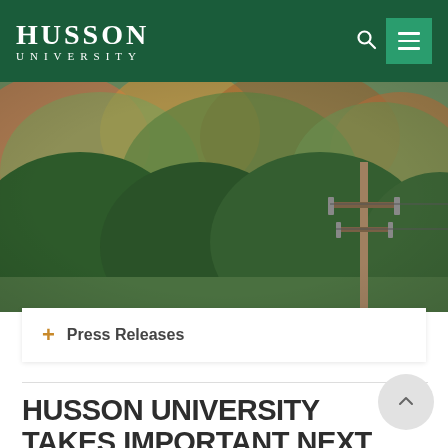HUSSON UNIVERSITY
[Figure (photo): Outdoor autumn campus photo showing blurred colorful foliage and a utility pole in the foreground]
+ Press Releases
HUSSON UNIVERSITY TAKES IMPORTANT NEXT